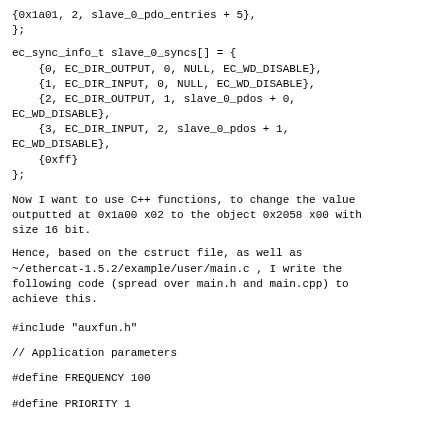{0x1a01, 2, slave_0_pdo_entries + 5},
};
ec_sync_info_t slave_0_syncs[] = {
    {0, EC_DIR_OUTPUT, 0, NULL, EC_WD_DISABLE},
    {1, EC_DIR_INPUT, 0, NULL, EC_WD_DISABLE},
    {2, EC_DIR_OUTPUT, 1, slave_0_pdos + 0,
EC_WD_DISABLE},
    {3, EC_DIR_INPUT, 2, slave_0_pdos + 1,
EC_WD_DISABLE},
    {0xff}
};
Now I want to use C++ functions, to change the value outputted at 0x1a00 x02 to the object 0x2058 x00 with size 16 bit.
Hence, based on the cstruct file, as well as ~/ethercat-1.5.2/example/user/main.c , I write the following code (spread over main.h and main.cpp) to achieve this.
#include "auxfun.h"
// Application parameters
#define FREQUENCY 100
#define PRIORITY 1